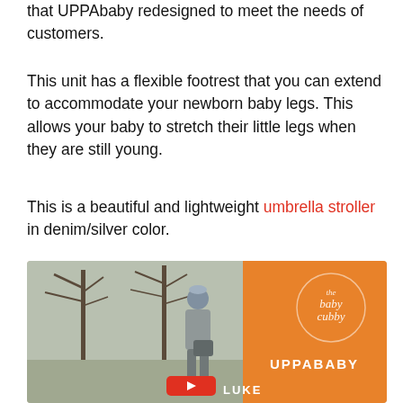that UPPAbaby redesigned to meet the needs of customers.
This unit has a flexible footrest that you can extend to accommodate your newborn baby legs. This allows your baby to stretch their little legs when they are still young.
This is a beautiful and lightweight umbrella stroller in denim/silver color.
It has good reclining steps so that your baby can take a nap in a comfortable position.
[Figure (photo): A person pushing a stroller outdoors near bare trees, with an orange background panel showing 'the baby cubby' logo and 'UPPABABY' text, with a red YouTube play button visible.]